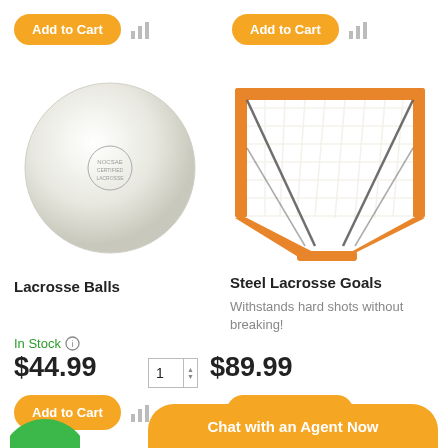[Figure (screenshot): Add to Cart button (top left) with bar chart icon]
[Figure (screenshot): Add to Cart button (top right) with bar chart icon]
[Figure (photo): White lacrosse ball product image]
[Figure (photo): Steel lacrosse goal with orange frame and white net]
Lacrosse Balls
Steel Lacrosse Goals
Withstands hard shots without breaking!
In Stock
$44.99
$89.99
[Figure (screenshot): Add to Cart button (bottom left) with bar chart icon]
[Figure (screenshot): Choose Options button (bottom right) with bar chart icon]
[Figure (screenshot): Chat with an Agent Now button at bottom]